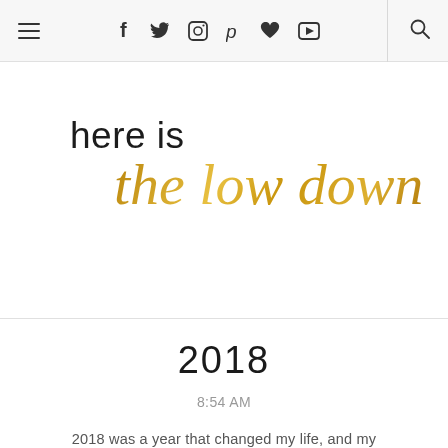≡  f  𝕏  📷  ℗  ♥  ▶  🔍
[Figure (logo): Blog logo with text 'here is' in thin sans-serif and 'the low down' in gold cursive script]
2018
8:54 AM
2018 was a year that changed my life, and my